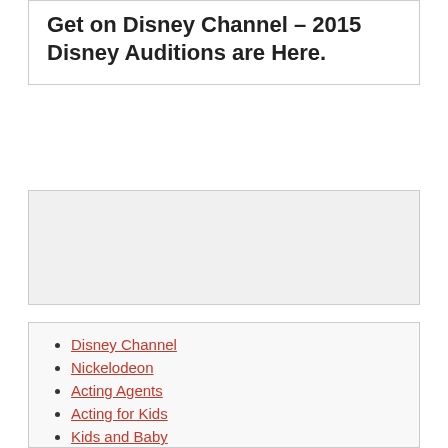Get on Disney Channel – 2015 Disney Auditions are Here.
[Figure (other): Advertisement or placeholder box]
Disney Channel
Nickelodeon
Acting Agents
Acting for Kids
Kids and Baby
Audience casting calls and tickets
Acting Articles
Talk Shows